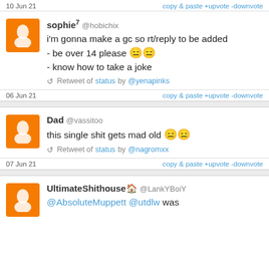10 Jun 21   copy & paste +upvote -downvote
sophie7 @hobichix
i'm gonna make a gc so rt/reply to be added
- be over 14 please 😑😑
- know how to take a joke
Retweet of status by @yenapinks
06 Jun 21   copy & paste +upvote -downvote
Dad @vassitoo
this single shit gets mad old 😑😑
Retweet of status by @nagromxx
07 Jun 21   copy & paste +upvote -downvote
UltimateShithouse🏠 @LankYBoiY
@AbsoluteMuppett @utdlw was